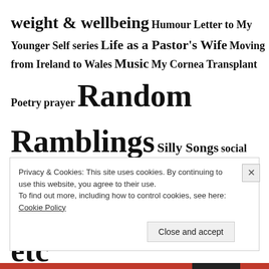weight & wellbeing Humour Letter to My Younger Self series Life as a Pastor's Wife Moving from Ireland to Wales Music My Cornea Transplant Poetry prayer Random Ramblings Silly Songs social media Spirit Radio World Mental Health Day Writing, Blogging etc
Privacy & Cookies: This site uses cookies. By continuing to use this website, you agree to their use. To find out more, including how to control cookies, see here: Cookie Policy
Close and accept